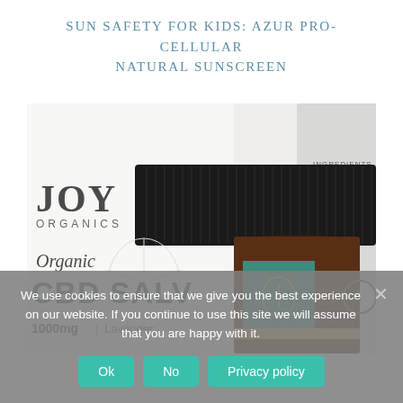SUN SAFETY FOR KIDS: AZUR PRO-CELLULAR NATURAL SUNSCREEN
[Figure (photo): Close-up photo of Joy Organics Organic CBD Salve 1000mg Lavender product packaging and jar, with a second Joy Organics branded jar visible behind. A black ribbed lid is prominently shown on top. The background box shows 'INGREDIENTS' text.]
We use cookies to ensure that we give you the best experience on our website. If you continue to use this site we will assume that you are happy with it.